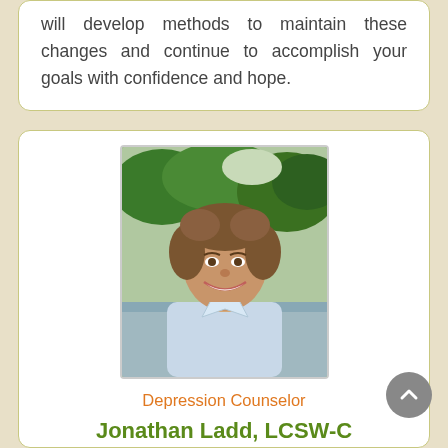will develop methods to maintain these changes and continue to accomplish your goals with confidence and hope.
[Figure (photo): Professional headshot of Jonathan Ladd, LCSW-C, a middle-aged man smiling, wearing a light blue shirt, outdoors near a lake with green trees in background.]
Depression Counselor
Jonathan Ladd, LCSW-C
Psychotherapist for Individuals and Couples
In 20878 - Nearby to Lake Barcroft